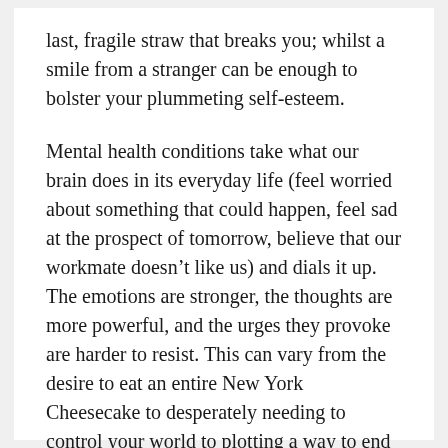last, fragile straw that breaks you; whilst a smile from a stranger can be enough to bolster your plummeting self-esteem.
Mental health conditions take what our brain does in its everyday life (feel worried about something that could happen, feel sad at the prospect of tomorrow, believe that our workmate doesn’t like us) and dials it up. The emotions are stronger, the thoughts are more powerful, and the urges they provoke are harder to resist. This can vary from the desire to eat an entire New York Cheesecake to desperately needing to control your world to plotting a way to end the prime-minister’s new immigration policy.